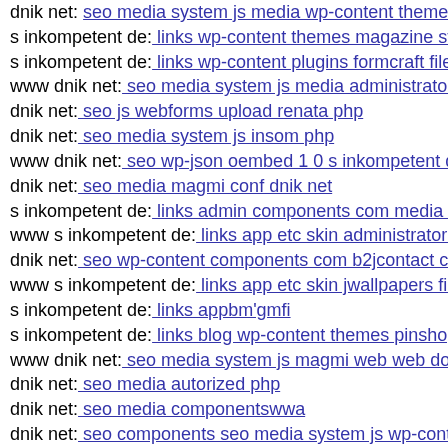dnik net: seo media system js media wp-content themes po
s inkompetent de: links wp-content themes magazine style
s inkompetent de: links wp-content plugins formcraft file-u
www dnik net: seo media system js media administrator tn
dnik net: seo js webforms upload renata php
dnik net: seo media system js insom php
www dnik net: seo wp-json oembed 1 0 s inkompetent de
dnik net: seo media magmi conf dnik net
s inkompetent de: links admin components com media com
www s inkompetent de: links app etc skin administrator w
dnik net: seo wp-content components com b2jcontact com
www s inkompetent de: links app etc skin jwallpapers files
s inkompetent de: links appbm'gmfi
s inkompetent de: links blog wp-content themes pinshop s
www dnik net: seo media system js magmi web web down
dnik net: seo media autorized php
dnik net: seo media componentswwa
dnik net: seo components seo media system js wp-content
s inkompetent de: links admin cms wysiwyg directive skin
s inkompetent de: links manager tmp plupload test php